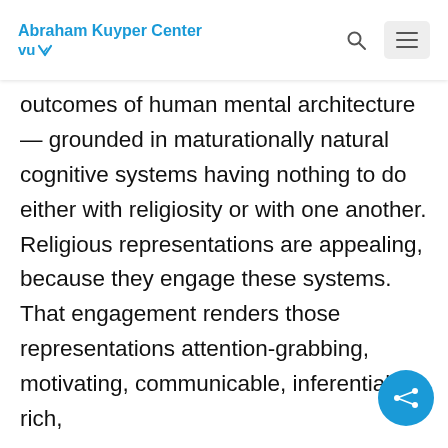Abraham Kuyper Center VU
outcomes of human mental architecture — grounded in maturationally natural cognitive systems having nothing to do either with religiosity or with one another. Religious representations are appealing, because they engage these systems. That engagement renders those representations attention-grabbing, motivating, communicable, inferentially rich,